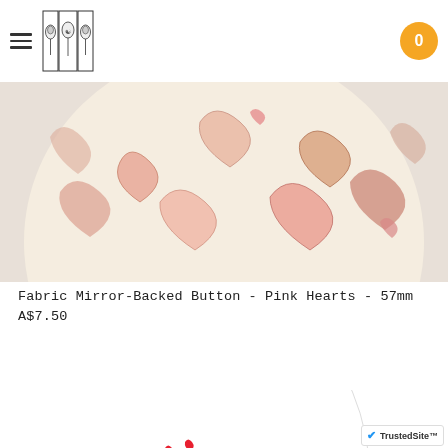navigation header with hamburger menu, logo, and cart badge showing 0
[Figure (photo): Close-up photo of a fabric mirror-backed button with pink hearts pattern on a cream/beige background, showing a circular button tilted at an angle]
Fabric Mirror-Backed Button - Pink Hearts - 57mm
A$7.50
View Details
[Figure (photo): Circular button featuring a cartoon monkey with a pink flower crown and red hearts, with 'Happy Valentine' text in cursive script, on a white background]